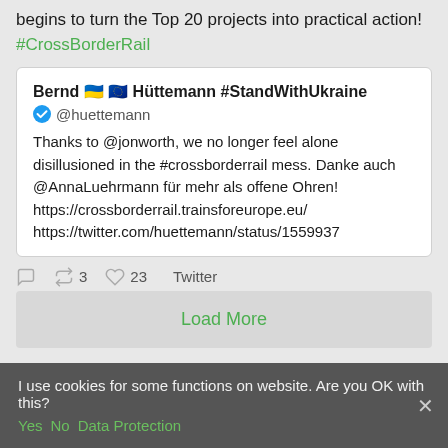begins to turn the Top 20 projects into practical action! #CrossBorderRail
[Figure (screenshot): A tweet embed card from @huettemann (Bernd Hüttemann #StandWithUkraine) saying: Thanks to @jonworth, we no longer feel alone disillusioned in the #crossborderrail mess. Danke auch @AnnaLuehrmann für mehr als offene Ohren! https://crossborderrail.trainsforeurope.eu/ https://twitter.com/huettemann/status/1559937 — with 3 retweets and 23 likes.]
Load More
I use cookies for some functions on website. Are you OK with this? Yes No Data Protection